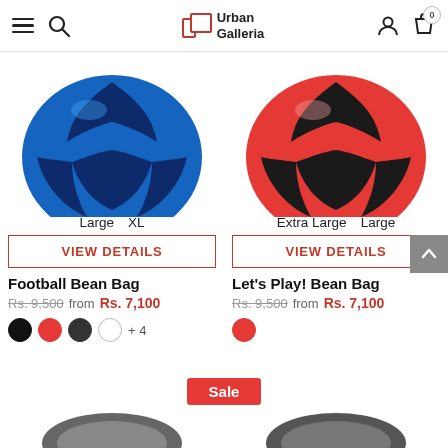Urban Galleria
[Figure (photo): Blue and dark navy football-shaped bean bag]
Large   XL
VIEW DETAILS
Football Bean Bag
Rs. 9,500  from  Rs. 7,100
[Figure (photo): Red and black football-shaped bean bag]
Extra Large   Large
VIEW DETAILS
Let's Play! Bean Bag
Rs. 9,500  from  Rs. 7,100
Sale
[Figure (photo): Partially visible bean bag product at bottom left]
[Figure (photo): Partially visible bean bag product at bottom right]